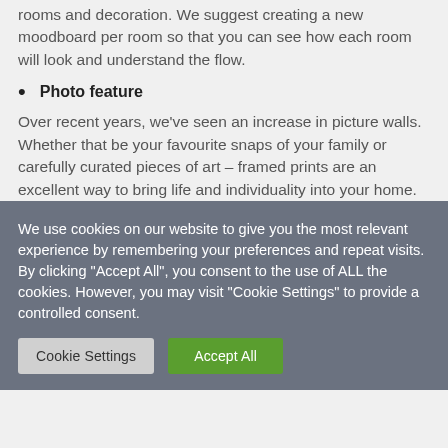rooms and decoration. We suggest creating a new moodboard per room so that you can see how each room will look and understand the flow.
Photo feature
Over recent years, we’ve seen an increase in picture walls. Whether that be your favourite snaps of your family or carefully curated pieces of art – framed prints are an excellent way to bring life and individuality into your home.
We use cookies on our website to give you the most relevant experience by remembering your preferences and repeat visits. By clicking “Accept All”, you consent to the use of ALL the cookies. However, you may visit "Cookie Settings" to provide a controlled consent.